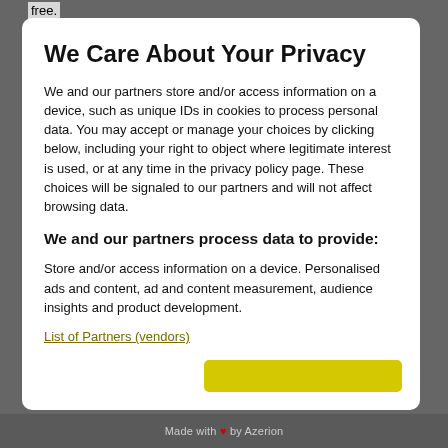free.
We Care About Your Privacy
We and our partners store and/or access information on a device, such as unique IDs in cookies to process personal data. You may accept or manage your choices by clicking below, including your right to object where legitimate interest is used, or at any time in the privacy policy page. These choices will be signaled to our partners and will not affect browsing data.
We and our partners process data to provide:
Store and/or access information on a device. Personalised ads and content, ad and content measurement, audience insights and product development.
List of Partners (vendors)
Made with ♥ by Azerion